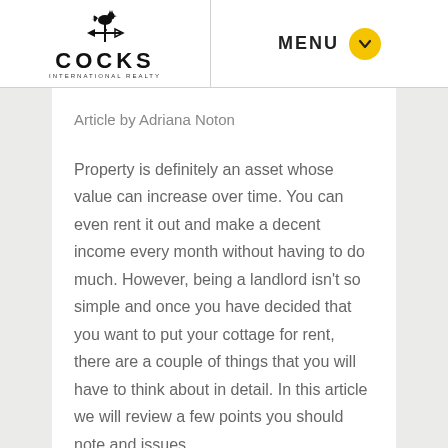COCKS INTERNATIONAL REALTY — MENU
Article by Adriana Noton
Property is definitely an asset whose value can increase over time. You can even rent it out and make a decent income every month without having to do much. However, being a landlord isn't so simple and once you have decided that you want to put your cottage for rent, there are a couple of things that you will have to think about in detail. In this article we will review a few points you should note and issues